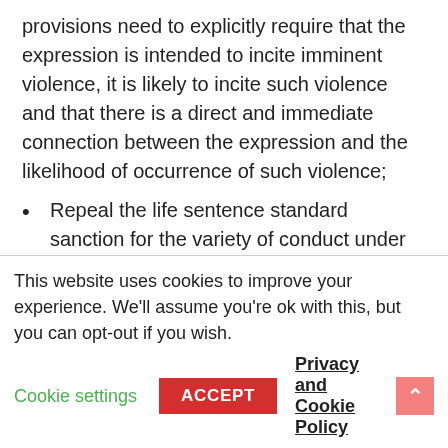provisions need to explicitly require that the expression is intended to incite imminent violence, it is likely to incite such violence and that there is a direct and immediate connection between the expression and the likelihood of occurrence of such violence;
Repeal the life sentence standard sanction for the variety of conduct under 279 with sanctions respectively proportioned to the level of severity and harmfulness of each of the relevant types of conduct;
Repeal Article 80 of the Penal Code, which contains overly broad provisions criminalising
This website uses cookies to improve your experience. We'll assume you're ok with this, but you can opt-out if you wish.
Cookie settings  ACCEPT  Privacy and Cookie Policy